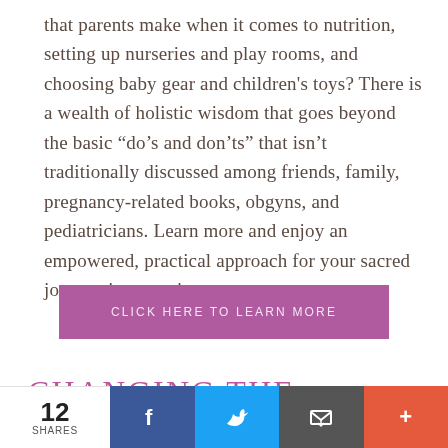that parents make when it comes to nutrition, setting up nurseries and play rooms, and choosing baby gear and children's toys? There is a wealth of holistic wisdom that goes beyond the basic “do’s and don’ts” that isn’t traditionally discussed among friends, family, pregnancy-related books, obgyns, and pediatricians. Learn more and enjoy an empowered, practical approach for your sacred journey in parenting.
[Figure (other): Purple button labeled CLICK HERE TO LEARN MORE]
CHANGING THE COURSE
12 SHARES | Facebook | Twitter | Email | +